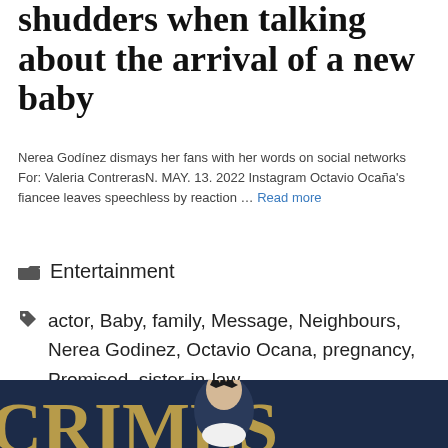shudders when talking about the arrival of a new baby
Nerea Godínez dismays her fans with her words on social networks For: Valeria ContrerasN. MAY. 13. 2022 Instagram Octavio Ocaña's fiancee leaves speechless by reaction … Read more
Entertainment
actor, Baby, family, Message, Neighbours, Nerea Godinez, Octavio Ocana, pregnancy, Promised, sister-in-law
[Figure (photo): Person with spiky dark hair wearing white, standing in front of large gold letters reading CRIMES on dark background]